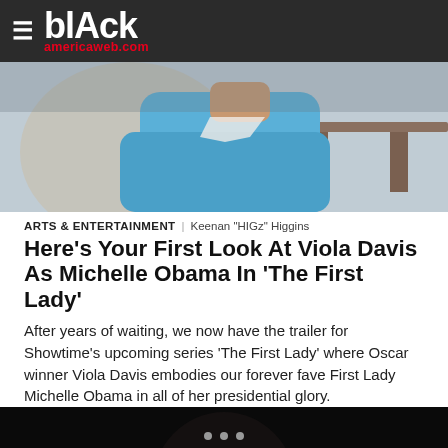blAck americaweb.com
[Figure (photo): Top portion of a person wearing a blue blazer/jacket, seated at a table, shown from shoulders up with face cropped out]
ARTS & ENTERTAINMENT | Keenan "HIGz" Higgins
Here’s Your First Look At Viola Davis As Michelle Obama In ‘The First Lady’
After years of waiting, we now have the trailer for Showtime's upcoming series ‘The First Lady’ where Oscar winner Viola Davis embodies our forever fave First Lady Michelle Obama in all of her presidential glory.
[Figure (photo): A woman with long dark hair, smiling broadly, wearing a white outfit, photographed against a dark background — appears to be Viola Davis portraying Michelle Obama]